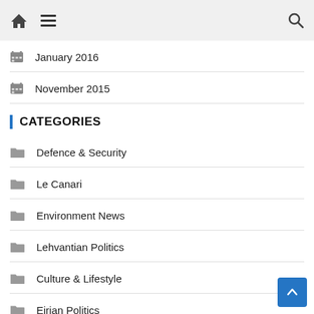Home Menu Search
January 2016
November 2015
CATEGORIES
Defence & Security
Le Canari
Environment News
Lehvantian Politics
Culture & Lifestyle
Eirian Politics
Sports